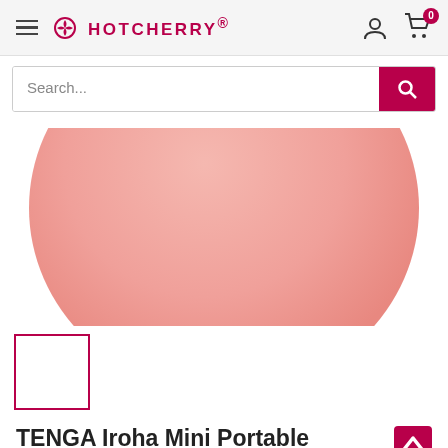HotCherry® — Navigation header with hamburger menu, logo, account icon, cart (0)
Search...
[Figure (photo): Close-up photo of a pink dome-shaped TENGA Iroha Mini Portable Intimate Massager product against a white background]
[Figure (photo): Small white thumbnail thumbnail image box with dark pink border, showing product thumbnail]
TENGA Iroha Mini Portable Intimate Massager